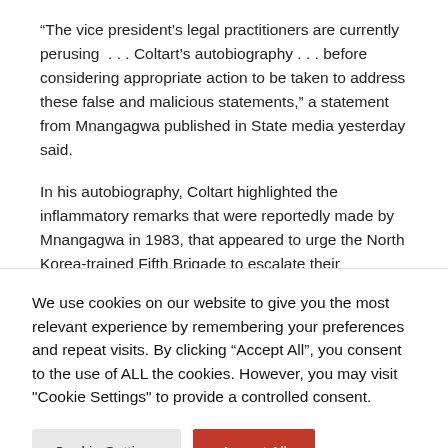“The vice president’s legal practitioners are currently perusing  . . . Coltart’s autobiography . . . before considering appropriate action to be taken to address these false and malicious statements,” a statement from Mnangagwa published in State media yesterday said.
In his autobiography, Coltart highlighted the inflammatory remarks that were reportedly made by Mnangagwa in 1983, that appeared to urge the North Korea-trained Fifth Brigade to escalate their operations in the Matabeleland
We use cookies on our website to give you the most relevant experience by remembering your preferences and repeat visits. By clicking “Accept All”, you consent to the use of ALL the cookies. However, you may visit "Cookie Settings" to provide a controlled consent.